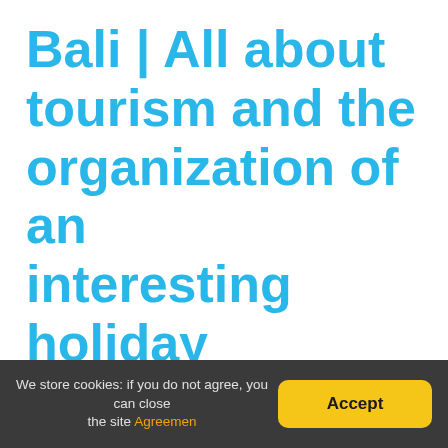Bali | All about tourism and the organization of an interesting holiday
We store cookies: if you do not agree, you can close the site Agreement